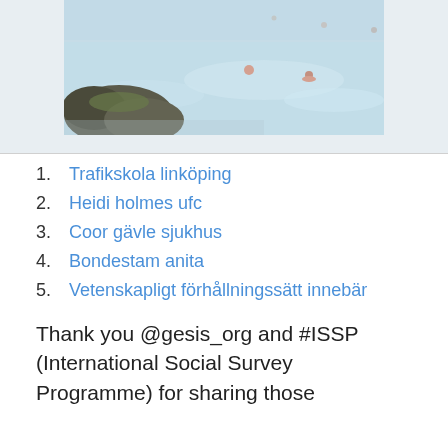[Figure (photo): Aerial/landscape photo of a geothermal pool (likely Blue Lagoon in Iceland) with people swimming, rocky formations, and milky blue water]
1. Trafikskola linköping
2. Heidi holmes ufc
3. Coor gävle sjukhus
4. Bondestam anita
5. Vetenskapligt förhållningssätt innebär
Thank you @gesis_org and #ISSP (International Social Survey Programme) for sharing those